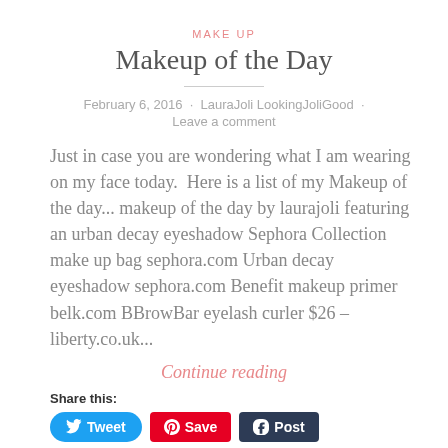MAKE UP
Makeup of the Day
February 6, 2016 · LauraJoli LookingJoliGood · Leave a comment
Just in case you are wondering what I am wearing on my face today.  Here is a list of my Makeup of the day... makeup of the day by laurajoli featuring an urban decay eyeshadow Sephora Collection make up bag sephora.com Urban decay eyeshadow sephora.com Benefit makeup primer belk.com BBrowBar eyelash curler $26 – liberty.co.uk...
Continue reading
Share this:
Tweet Save Post